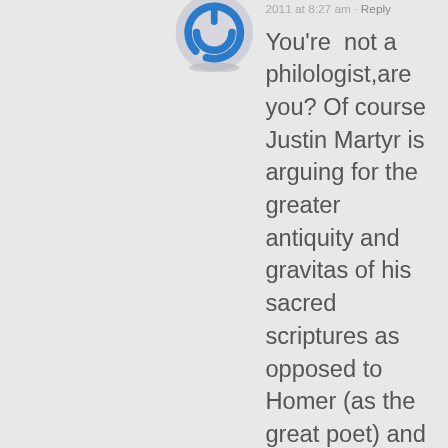[Figure (logo): Blue circular power button icon / avatar placeholder]
2011 at 8:27 am · Reply
You're  not a philologist,are you? Of course Justin Martyr is arguing for the greater antiquity and gravitas of his sacred scriptures as opposed to Homer (as the great poet) and Plato (most eminent philosopher), he's trying to convince them of christianity. It's still